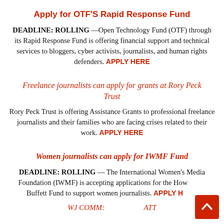Apply for OTF'S Rapid Response Fund
DEADLINE: ROLLING —Open Technology Fund (OTF) through its Rapid Response Fund is offering financial support and technical services to bloggers, cyber activists, journalists, and human rights defenders. APPLY HERE
Freelance journalists can apply for grants at Rory Peck Trust
Rory Peck Trust is offering Assistance Grants to professional freelance journalists and their families who are facing crises related to their work. APPLY HERE
Women journalists can apply for IWMF Fund
DEADLINE: ROLLING — The International Women's Media Foundation (IWMF) is accepting applications for the Howard G. Buffett Fund to support women journalists. APPLY HERE